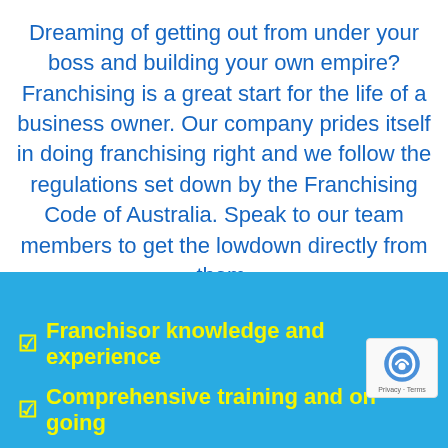Dreaming of getting out from under your boss and building your own empire? Franchising is a great start for the life of a business owner. Our company prides itself in doing franchising right and we follow the regulations set down by the Franchising Code of Australia. Speak to our team members to get the lowdown directly from them.
Franchisor knowledge and experience
Comprehensive training and on going